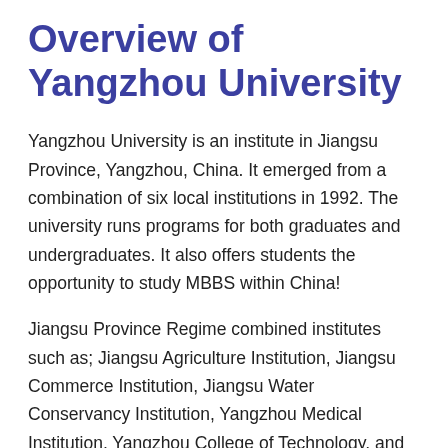Overview of Yangzhou University
Yangzhou University is an institute in Jiangsu Province, Yangzhou, China. It emerged from a combination of six local institutions in 1992. The university runs programs for both graduates and undergraduates. It also offers students the opportunity to study MBBS within China!
Jiangsu Province Regime combined institutes such as; Jiangsu Agriculture Institution, Jiangsu Commerce Institution, Jiangsu Water Conservancy Institution, Yangzhou Medical Institution, Yangzhou College of Technology, and Yangzhou Teacher's